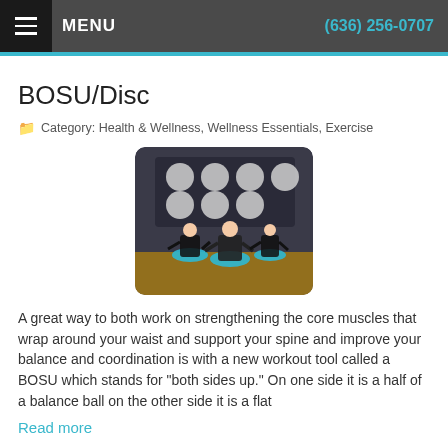MENU   (636) 256-0707
BOSU/Disc
Category: Health & Wellness, Wellness Essentials, Exercise
[Figure (photo): Group of people doing exercises on BOSU balance trainers in a gym with exercise balls on rack in background]
A great way to both work on strengthening the core muscles that wrap around your waist and support your spine and improve your balance and coordination is with a new workout tool called a BOSU which stands for "both sides up." On one side it is a half of a balance ball on the other side it is a flat
Read more